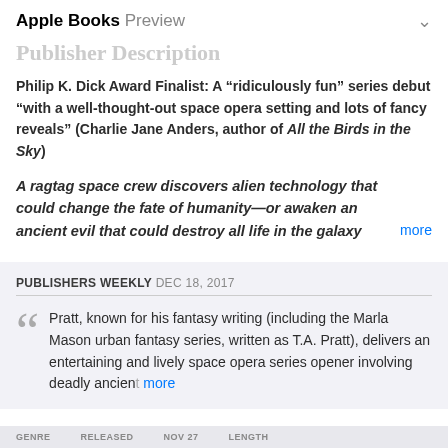Apple Books Preview
Publisher Description
Philip K. Dick Award Finalist: A “ridiculously fun” series debut “with a well-thought-out space opera setting and lots of fancy reveals” (Charlie Jane Anders, author of All the Birds in the Sky)
A ragtag space crew discovers alien technology that could change the fate of humanity—or awaken an ancient evil that could destroy all life in the galaxy more
PUBLISHERS WEEKLY DEC 18, 2017
Pratt, known for his fantasy writing (including the Marla Mason urban fantasy series, written as T.A. Pratt), delivers an entertaining and lively space opera series opener involving deadly ancient more